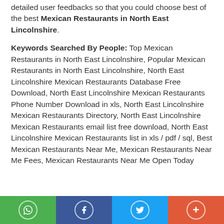detailed user feedbacks so that you could choose best of the best Mexican Restaurants in North East Lincolnshire.
Keywords Searched By People: Top Mexican Restaurants in North East Lincolnshire, Popular Mexican Restaurants in North East Lincolnshire, North East Lincolnshire Mexican Restaurants Database Free Download, North East Lincolnshire Mexican Restaurants Phone Number Download in xls, North East Lincolnshire Mexican Restaurants Directory, North East Lincolnshire Mexican Restaurants email list free download, North East Lincolnshire Mexican Restaurants list in xls / pdf / sql, Best Mexican Restaurants Near Me, Mexican Restaurants Near Me Fees, Mexican Restaurants Near Me Open Today
Social share buttons: WhatsApp, Facebook, Twitter, More